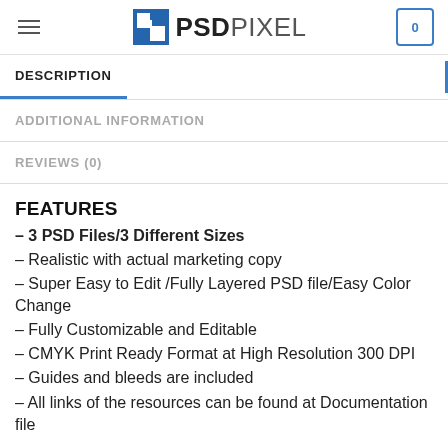PSDPIXEL
DESCRIPTION
ADDITIONAL INFORMATION
REVIEWS (0)
FEATURES
– 3 PSD Files/3 Different Sizes
– Realistic with actual marketing copy
– Super Easy to Edit /Fully Layered PSD file/Easy Color Change
– Fully Customizable and Editable
– CMYK Print Ready Format at High Resolution 300 DPI
– Guides and bleeds are included
– All links of the resources can be found at Documentation file